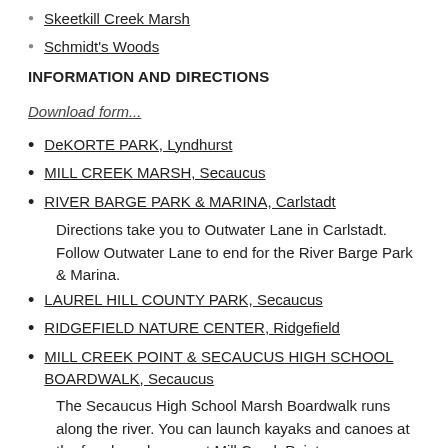Skeetkill Creek Marsh
Schmidt's Woods
INFORMATION AND DIRECTIONS
Download form...
DeKORTE PARK, Lyndhurst
MILL CREEK MARSH, Secaucus
RIVER BARGE PARK & MARINA, Carlstadt
Directions take you to Outwater Lane in Carlstadt. Follow Outwater Lane to end for the River Barge Park & Marina.
LAUREL HILL COUNTY PARK, Secaucus
RIDGEFIELD NATURE CENTER, Ridgefield
MILL CREEK POINT & SECAUCUS HIGH SCHOOL BOARDWALK, Secaucus
The Secaucus High School Marsh Boardwalk runs along the river. You can launch kayaks and canoes at the free launch ramp at Mill Creek Point.
SCHMIDT'S WOODS, Secaucus